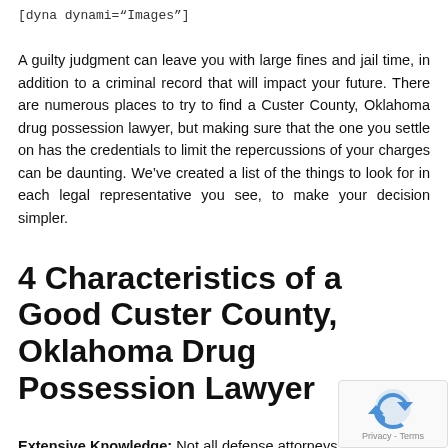[dyna dynami="Images"]
A guilty judgment can leave you with large fines and jail time, in addition to a criminal record that will impact your future. There are numerous places to try to find a Custer County, Oklahoma drug possession lawyer, but making sure that the one you settle on has the credentials to limit the repercussions of your charges can be daunting. We've created a list of the things to look for in each legal representative you see, to make your decision simpler.
4 Characteristics of a Good Custer County, Oklahoma Drug Possession Lawyer
Extensive Knowledge: Not all defense attorneys are experts in illegal drug matters. Be certain the professional you select has a strong background